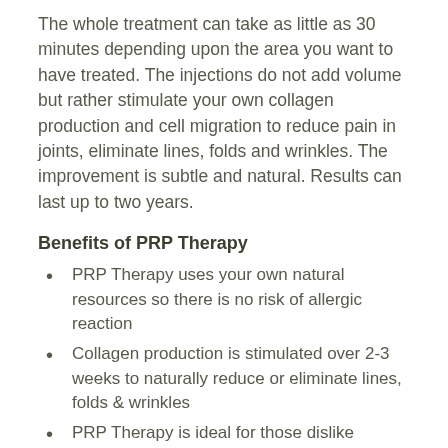The whole treatment can take as little as 30 minutes depending upon the area you want to have treated. The injections do not add volume but rather stimulate your own collagen production and cell migration to reduce pain in joints, eliminate lines, folds and wrinkles. The improvement is subtle and natural. Results can last up to two years.
Benefits of PRP Therapy
PRP Therapy uses your own natural resources so there is no risk of allergic reaction
Collagen production is stimulated over 2-3 weeks to naturally reduce or eliminate lines, folds & wrinkles
PRP Therapy is ideal for those dislike